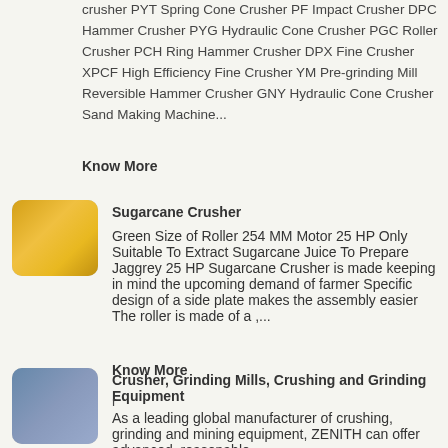crusher PYT Spring Cone Crusher PF Impact Crusher DPC Hammer Crusher PYG Hydraulic Cone Crusher PGC Roller Crusher PCH Ring Hammer Crusher DPX Fine Crusher XPCF High Efficiency Fine Crusher YM Pre-grinding Mill Reversible Hammer Crusher GNY Hydraulic Cone Crusher Sand Making Machine...
Know More
[Figure (photo): Yellow sugarcane crusher machinery]
Sugarcane Crusher
Green Size of Roller 254 MM Motor 25 HP Only Suitable To Extract Sugarcane Juice To Prepare Jaggrey 25 HP Sugarcane Crusher is made keeping in mind the upcoming demand of farmer Specific design of a side plate makes the assembly easier The roller is made of a ,...
Know More
[Figure (photo): Worker with crushing and grinding equipment]
Crusher, Grinding Mills, Crushing and Grinding Equipment
r
As a leading global manufacturer of crushing, grinding and mining equipment, ZENITH can offer advanced, reasonable